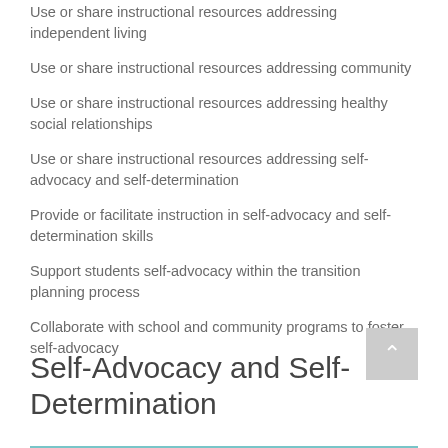Use or share instructional resources addressing independent living
Use or share instructional resources addressing community
Use or share instructional resources addressing healthy social relationships
Use or share instructional resources addressing self-advocacy and self-determination
Provide or facilitate instruction in self-advocacy and self-determination skills
Support students self-advocacy within the transition planning process
Collaborate with school and community programs to foster self-advocacy
Self-Advocacy and Self-Determination